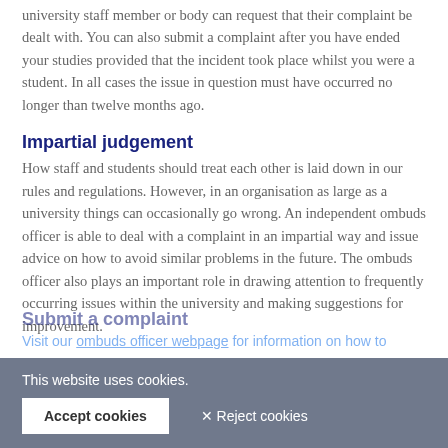university staff member or body can request that their complaint be dealt with. You can also submit a complaint after you have ended your studies provided that the incident took place whilst you were a student. In all cases the issue in question must have occurred no longer than twelve months ago.
Impartial judgement
How staff and students should treat each other is laid down in our rules and regulations. However, in an organisation as large as a university things can occasionally go wrong. An independent ombuds officer is able to deal with a complaint in an impartial way and issue advice on how to avoid similar problems in the future. The ombuds officer also plays an important role in drawing attention to frequently occurring issues within the university and making suggestions for improvement.
Submit a complaint
Visit our ombuds officer webpage for information on how to